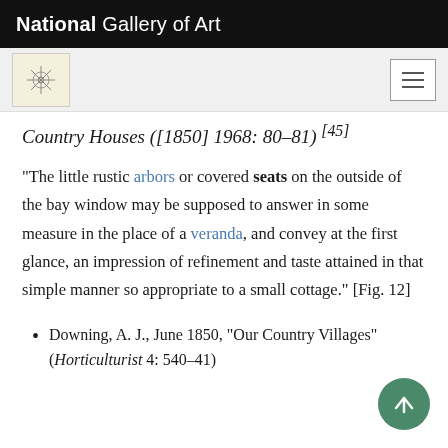National Gallery of Art
Country Houses ([1850] 1968: 80–81) [45]
“The little rustic arbors or covered seats on the outside of the bay window may be supposed to answer in some measure in the place of a veranda, and convey at the first glance, an impression of refinement and taste attained in that simple manner so appropriate to a small cottage.” [Fig. 12]
Downing, A. J., June 1850, “Our Country Villages” (Horticulturist 4: 540–41)